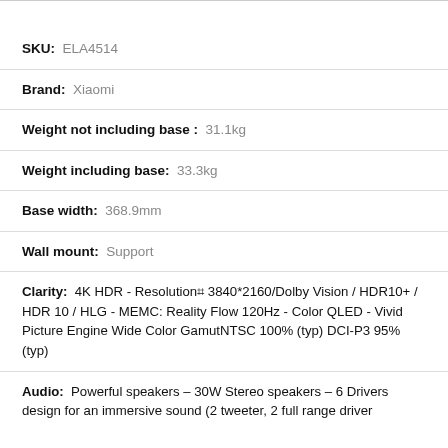SKU: ELA4514
Brand: Xiaomi
Weight not including base: 31.1kg
Weight including base: 33.3kg
Base width: 368.9mm
Wall mount: Support
Clarity: 4K HDR - Resolution: 3840*2160/Dolby Vision / HDR10+ / HDR 10 / HLG - MEMC: Reality Flow 120Hz - Color QLED - Vivid Picture Engine Wide Color GamutNTSC 100% (typ) DCI-P3 95% (typ)
Audio: Powerful speakers – 30W Stereo speakers – 6 Drivers design for an immersive sound (2 tweeter, 2 full range driver